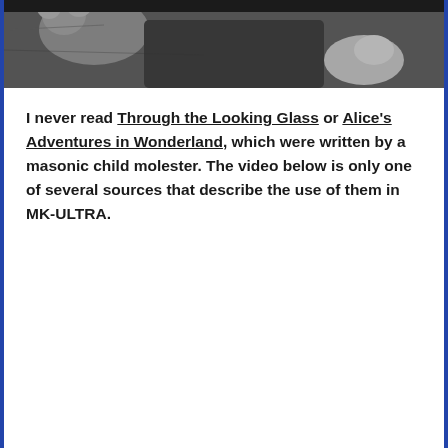[Figure (photo): Black and white photograph showing a person lying down with a stuffed teddy bear, hand visible]
I never read Through the Looking Glass or Alice's Adventures in Wonderland, which were written by a masonic child molester.  The video below is only one of several sources that describe the use of them in MK-ULTRA.